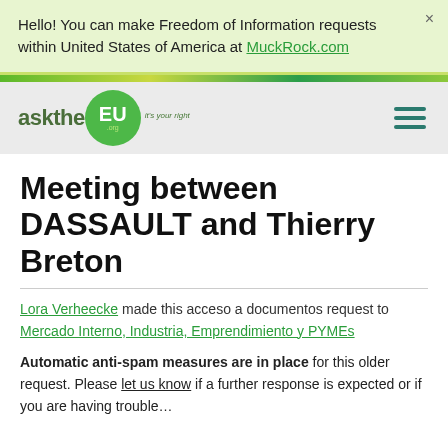Hello! You can make Freedom of Information requests within United States of America at MuckRock.com
[Figure (logo): AskTheEU.org logo — green speech bubble with 'EU' text, 'askthe' text to the left, tagline 'it's your right']
Meeting between DASSAULT and Thierry Breton
Lora Verheecke made this acceso a documentos request to Mercado Interno, Industria, Emprendimiento y PYMEs
Automatic anti-spam measures are in place for this older request. Please let us know if a further response is expected or if you are having trouble…